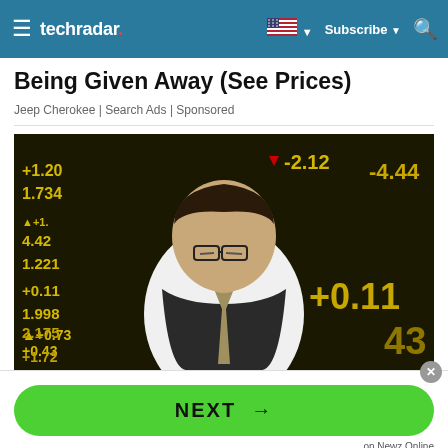techradar. ☰  🇺🇸 ▼  Subscribe ▼  🔍
Being Given Away (See Prices)
Jeep Cherokee | Search Ads | Sponsored
[Figure (photo): A man in a vest and tie looking down, with a stock market ticker board in yellow and green numerical data in the background showing values like +1.20, 1.734, -2.12, 1.221, +1, 1.998, +0.73, +0.43, 2.175, +1.72, -4.44, +0.11]
NEXT →
on Newz Online